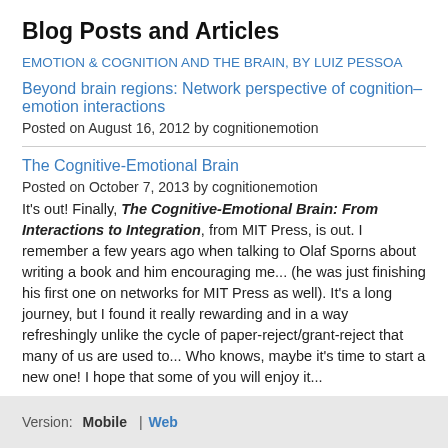Blog Posts and Articles
EMOTION & COGNITION AND THE BRAIN, BY LUIZ PESSOA
Beyond brain regions: Network perspective of cognition–emotion interactions
Posted on August 16, 2012 by cognitionemotion
The Cognitive-Emotional Brain
Posted on October 7, 2013 by cognitionemotion
It's out! Finally, The Cognitive-Emotional Brain: From Interactions to Integration, from MIT Press, is out. I remember a few years ago when talking to Olaf Sporns about writing a book and him encouraging me... (he was just finishing his first one on networks for MIT Press as well). It's a long journey, but I found it really rewarding and in a way refreshingly unlike the cycle of paper-reject/grant-reject that many of us are used to... Who knows, maybe it's time to start a new one! I hope that some of you will enjoy it...
Version: Mobile | Web